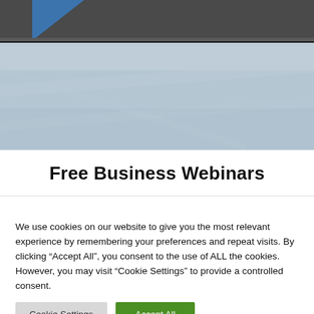[Figure (illustration): Website header image with dark gray/charcoal top bar, a blue diagonal accent element at the top-left, and a large light blue-gray mottled/textured background area below]
Free Business Webinars
We use cookies on our website to give you the most relevant experience by remembering your preferences and repeat visits. By clicking “Accept All”, you consent to the use of ALL the cookies. However, you may visit "Cookie Settings" to provide a controlled consent.